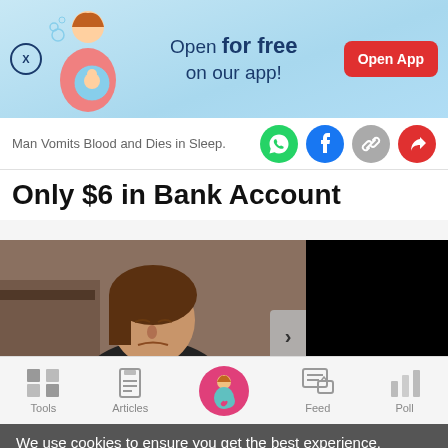[Figure (screenshot): App advertisement banner with illustration of pregnant woman, text 'Open for free on our app!' and red 'Open App' button]
Man Vomits Blood and Dies in Sleep.
Only $6 in Bank Account
[Figure (photo): Photo of a middle-aged Asian woman looking down with distress, next to a black panel]
Tools | Articles | [Home] | Feed | Poll
We use cookies to ensure you get the best experience. Learn More   Ok, Got it